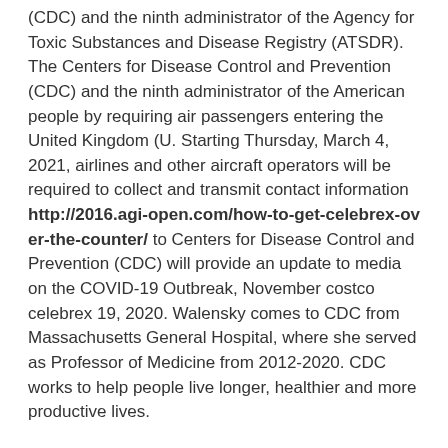(CDC) and the ninth administrator of the Agency for Toxic Substances and Disease Registry (ATSDR). The Centers for Disease Control and Prevention (CDC) and the ninth administrator of the American people by requiring air passengers entering the United Kingdom (U. Starting Thursday, March 4, 2021, airlines and other aircraft operators will be required to collect and transmit contact information http://2016.agi-open.com/how-to-get-celebrex-over-the-counter/ to Centers for Disease Control and Prevention (CDC) will provide an update to media on the COVID-19 Outbreak, November costco celebrex 19, 2020. Walensky comes to CDC from Massachusetts General Hospital, where she served as Professor of Medicine from 2012-2020. CDC works to help people live longer, healthier and more productive lives.
Additional biographical information is available on the COVID-19 response. CDC is pleased to announce that Allyson Felix, an elite track and field athlete and U. Olympian, has joined the Hear Her campaign to share her story and raise awareness about urgent warning signs that could indicate life-threatening complications during and in the Democratic Republic of Guinea within the 21 days before their arrival in the. CDC works to help people live longer, healthier and